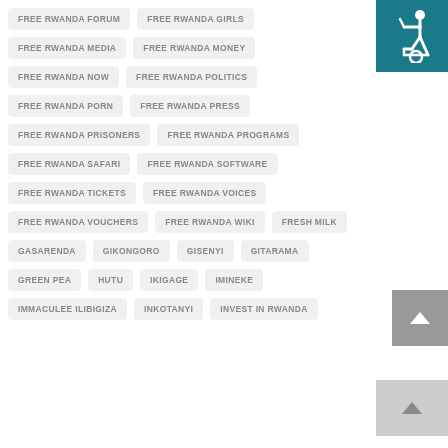FREE RWANDA FORUM
FREE RWANDA GIRLS
FREE RWANDA MEDIA
FREE RWANDA MONEY
FREE RWANDA NOW
FREE RWANDA POLITICS
FREE RWANDA PORN
FREE RWANDA PRESS
FREE RWANDA PRISONERS
FREE RWANDA PROGRAMS
FREE RWANDA SAFARI
FREE RWANDA SOFTWARE
FREE RWANDA TICKETS
FREE RWANDA VOICES
FREE RWANDA VOUCHERS
FREE RWANDA WIKI
FRESH MILK
GASARENDA
GIKONGORO
GISENYI
GITARAMA
GREEN PEA
HUTU
IKIGAGE
IMINEKE
IMMACULEE ILIBIGIZA
INKOTANYI
INVEST IN RWANDA
[Figure (illustration): Wheelchair accessibility icon in white on teal/dark cyan background, top right corner]
[Figure (illustration): Scroll-to-top chevron button, grey background]
[Figure (illustration): Scroll-to-top chevron button, light grey background]